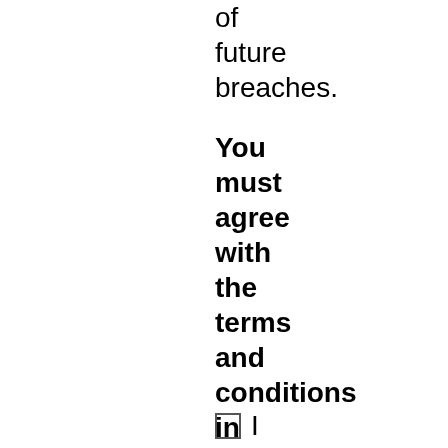of future breaches.
You must agree with the terms and conditions in order to download and use the software.
I